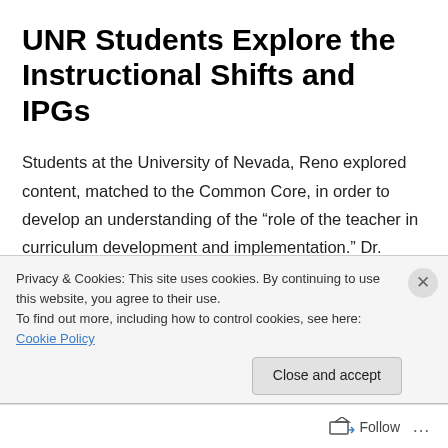UNR Students Explore the Instructional Shifts and IPGs
Students at the University of Nevada, Reno explored content, matched to the Common Core, in order to develop an understanding of the “role of the teacher in curriculum development and implementation.” Dr. Margaret Ferrara’s preservice teachers worked through David Coleman’s presentation on the instructional shifts; applied the Instructional Practice Guides to an 11th grade
Privacy & Cookies: This site uses cookies. By continuing to use this website, you agree to their use.
To find out more, including how to control cookies, see here: Cookie Policy
Close and accept
Follow